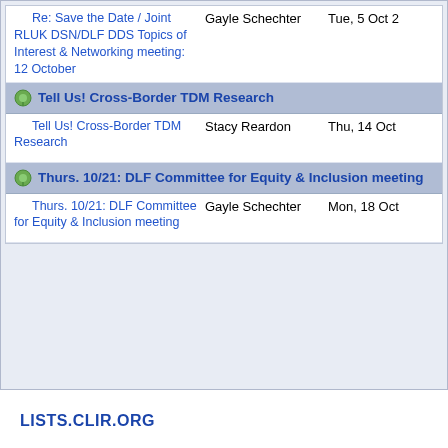| Subject | Sender | Date |
| --- | --- | --- |
| Re: Save the Date / Joint RLUK DSN/DLF DDS Topics of Interest & Networking meeting: 12 October | Gayle Schechter | Tue, 5 Oct 2... |
| Tell Us! Cross-Border TDM Research (thread header) |  |  |
| Tell Us! Cross-Border TDM Research | Stacy Reardon | Thu, 14 Oct 2... |
| Thurs. 10/21: DLF Committee for Equity & Inclusion meeting (thread header) |  |  |
| Thurs. 10/21: DLF Committee for Equity & Inclusion meeting | Gayle Schechter | Mon, 18 Oct 2... |
LISTS.CLIR.ORG